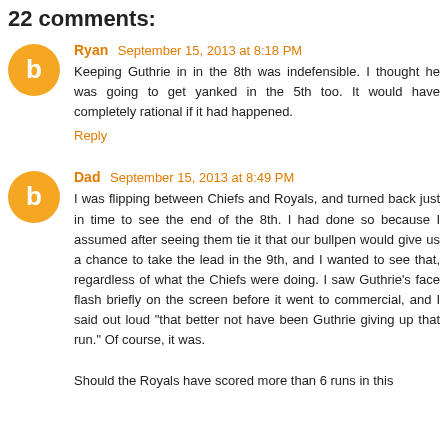22 comments:
Ryan September 15, 2013 at 8:18 PM
Keeping Guthrie in in the 8th was indefensible. I thought he was going to get yanked in the 5th too. It would have completely rational if it had happened.
Reply
Dad September 15, 2013 at 8:49 PM
I was flipping between Chiefs and Royals, and turned back just in time to see the end of the 8th. I had done so because I assumed after seeing them tie it that our bullpen would give us a chance to take the lead in the 9th, and I wanted to see that, regardless of what the Chiefs were doing. I saw Guthrie's face flash briefly on the screen before it went to commercial, and I said out loud "that better not have been Guthrie giving up that run." Of course, it was.

Should the Royals have scored more than 6 runs in this